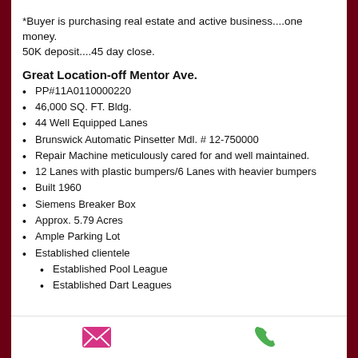*Buyer is purchasing real estate and active business....one money. 50K deposit....45 day close.
Great Location-off Mentor Ave.
PP#11A0110000220
46,000 SQ. FT. Bldg.
44 Well Equipped Lanes
Brunswick Automatic Pinsetter Mdl. # 12-750000
Repair Machine meticulously cared for and well maintained.
12 Lanes with plastic bumpers/6 Lanes with heavier bumpers
Built 1960
Siemens Breaker Box
Approx. 5.79 Acres
Ample Parking Lot
Established clientele
Established Pool League
Established Dart Leagues
[Figure (infographic): Email and phone call icon buttons in footer]